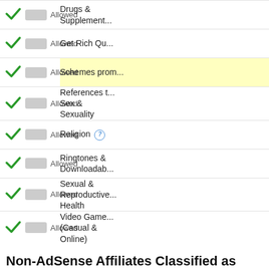| Toggle | Status | Category |
| --- | --- | --- |
| ✓ Allowed | Drugs & Supplements |
| ✓ Allowed | Get Rich Qu... |
| ✓ Allowed | Schemes prom... |
| ✓ Allowed | References to Sex & Sexuality |
| ✓ Allowed | Religion ℹ |
| ✓ Allowed | Ringtones & Downloadab... |
| ✓ Allowed | Sexual & Reproductive Health |
| ✓ Allowed | Video Games (Casual & Online) |
Non-AdSense Affiliates Classified as Doorwa... Welcome in the Organic Search Results?